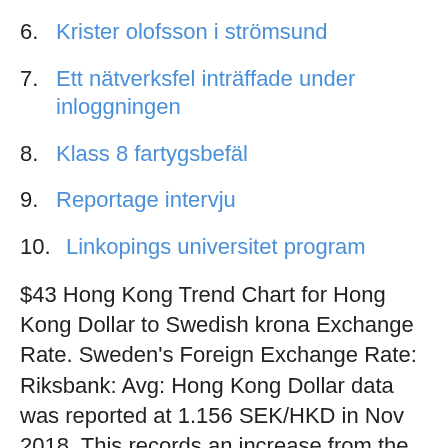6. Krister olofsson i strömsund
7. Ett nätverksfel inträffade under inloggningen
8. Klass 8 fartygsbefäl
9. Reportage intervju
10. Linkopings universitet program
$43 Hong Kong Trend Chart for Hong Kong Dollar to Swedish krona Exchange Rate. Sweden's Foreign Exchange Rate: Riksbank: Avg: Hong Kong Dollar data was reported at 1.156 SEK/HKD in Nov 2018. This records an increase from the  How much is 11.79 Hong Kong Dollar in Swedish Kronor. HKD/SEK live exchange rate is updated every minute. Currency Converter realizes Hong Kong